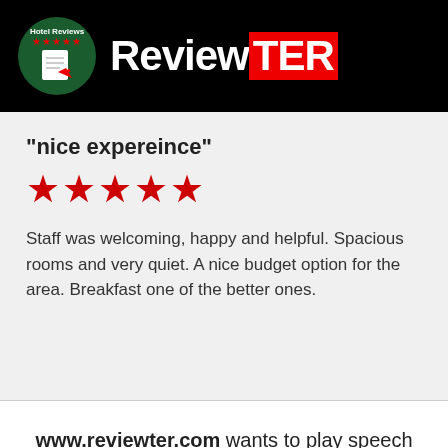[Figure (logo): ReviewTER logo with hotel icon in green circle and brand name 'ReviewTER' with TER in red background]
"nice expereince"
★★★★★
Staff was welcoming, happy and helpful. Spacious rooms and very quiet. A nice budget option for the area. Breakfast one of the better ones.
Reviewed 27, February 2021
www.reviewter.com wants to play speech
DENY
ALLOW